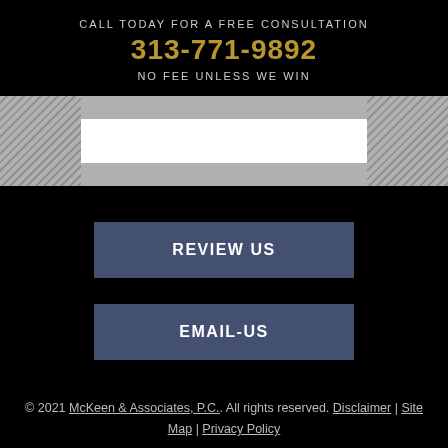CALL TODAY FOR A FREE CONSULTATION
313-771-9892
NO FEE UNLESS WE WIN
[Figure (other): Gray bar with white input field box and hatched pattern on sides]
REVIEW US
EMAIL-US
© 2021 McKeen & Associates, P.C.. All rights reserved. Disclaimer | Site Map | Privacy Policy